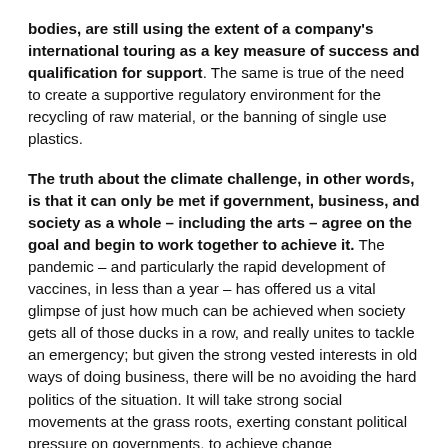bodies, are still using the extent of a company's international touring as a key measure of success and qualification for support. The same is true of the need to create a supportive regulatory environment for the recycling of raw material, or the banning of single use plastics.
The truth about the climate challenge, in other words, is that it can only be met if government, business, and society as a whole – including the arts – agree on the goal and begin to work together to achieve it. The pandemic – and particularly the rapid development of vaccines, in less than a year – has offered us a vital glimpse of just how much can be achieved when society gets all of those ducks in a row, and really unites to tackle an emergency; but given the strong vested interests in old ways of doing business, there will be no avoiding the hard politics of the situation. It will take strong social movements at the grass roots, exerting constant political pressure on governments, to achieve change